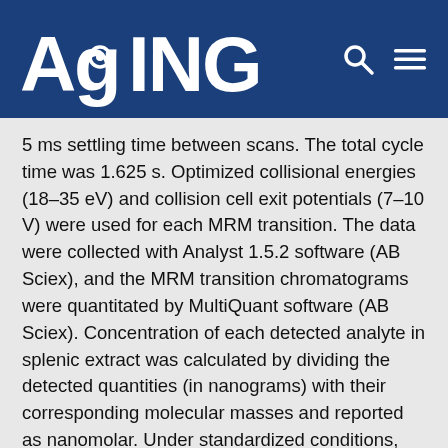AGING
5 ms settling time between scans. The total cycle time was 1.625 s. Optimized collisional energies (18–35 eV) and collision cell exit potentials (7–10 V) were used for each MRM transition. The data were collected with Analyst 1.5.2 software (AB Sciex), and the MRM transition chromatograms were quantitated by MultiQuant software (AB Sciex). Concentration of each detected analyte in splenic extract was calculated by dividing the detected quantities (in nanograms) with their corresponding molecular masses and reported as nanomolar. Under standardized conditions, the detection limits of most eicosanoids are ~2 pg on the column, and the limit of quantitation is 5 pg at a signal-noise ratio of 3. Since the sample volume used was 200 μl, this condition translates to an assay sensitivity of 0.03 nM for an average molecular mass of 330 of the detected eicosanoids.